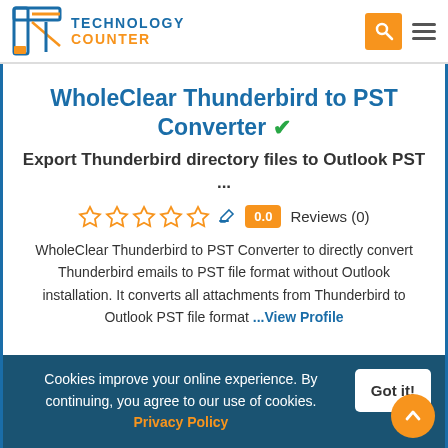Technology Counter
WholeClear Thunderbird to PST Converter ✓
Export Thunderbird directory files to Outlook PST ...
0.0  Reviews (0)
WholeClear Thunderbird to PST Converter to directly convert Thunderbird emails to PST file format without Outlook installation. It converts all attachments from Thunderbird to Outlook PST file format ...View Profile
Cookies improve your online experience. By continuing, you agree to our use of cookies. Privacy Policy